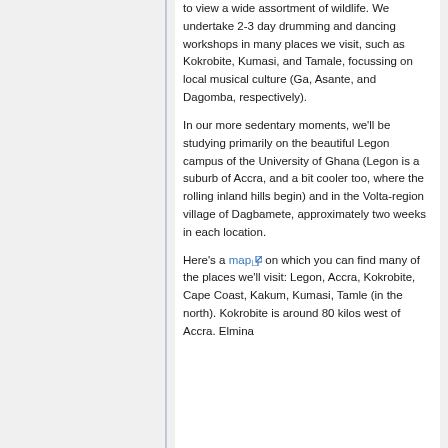to view a wide assortment of wildlife. We undertake 2-3 day drumming and dancing workshops in many places we visit, such as Kokrobite, Kumasi, and Tamale, focussing on local musical culture (Ga, Asante, and Dagomba, respectively).
In our more sedentary moments, we'll be studying primarily on the beautiful Legon campus of the University of Ghana (Legon is a suburb of Accra, and a bit cooler too, where the rolling inland hills begin) and in the Volta-region village of Dagbamete, approximately two weeks in each location.
Here's a map [external link] on which you can find many of the places we'll visit: Legon, Accra, Kokrobite, Cape Coast, Kakum, Kumasi, Tamle (in the north). Kokrobite is around 80 kilos west of Accra. Elmina